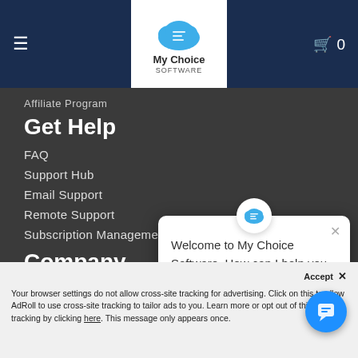My Choice SOFTWARE
Affiliate Program
Get Help
FAQ
Support Hub
Email Support
Remote Support
Subscription Management
Company
About Us
Meet The Team
Reviews
Blog
[Figure (screenshot): Chat popup: Welcome to My Choice Software. How can I help you today?]
Accept x
Your browser settings do not allow cross-site tracking for advertising. Click on this to allow AdRoll to use cross-site tracking to tailor ads to you. Learn more or opt out of this AdRoll tracking by clicking here. This message only appears once.